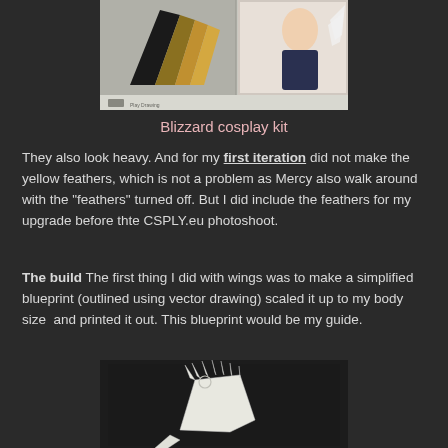[Figure (photo): Blizzard cosplay kit reference image showing Mercy wings with yellow and white feathers, and a character illustration]
Blizzard cosplay kit
They also look heavy. And for my first iteration did not make the yellow feathers, which is not a problem as Mercy also walk around with the "feathers" turned off. But I did include the feathers for my upgrade before thte CSPLY.eu photoshoot.
The build The first thing I did with wings was to make a simplified blueprint (outlined using vector drawing) scaled it up to my body size  and printed it out. This blueprint would be my guide.
[Figure (photo): Blueprint printout of Mercy wing skeleton/frame structure, white paper cutout on dark background showing wing bones and feather arrangement]